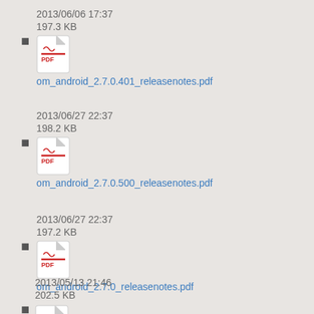2013/06/06 17:37
197.3 KB
om_android_2.7.0.401_releasenotes.pdf
2013/06/27 22:37
198.2 KB
om_android_2.7.0.500_releasenotes.pdf
2013/06/27 22:37
197.2 KB
om_android_2.7.0_releasenotes.pdf
2013/05/13 21:46
202.5 KB